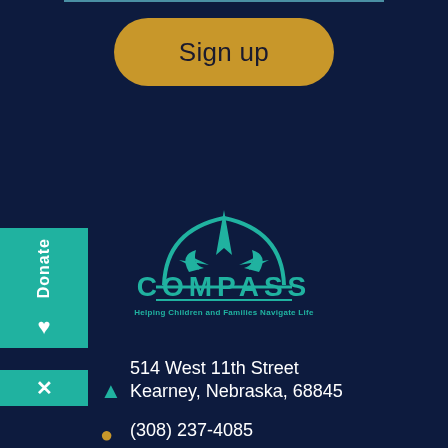[Figure (other): Golden rounded rectangle button with text 'Sign up']
[Figure (logo): Compass logo with teal compass rose icon, COMPASS text in teal, tagline 'Helping Children and Families Navigate Life']
514 West 11th Street
Kearney, Nebraska, 68845
(308) 237-4085